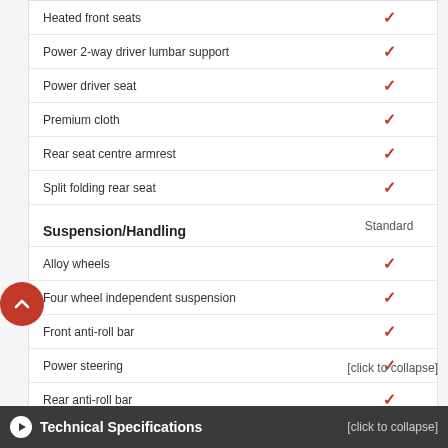| Feature | Standard |
| --- | --- |
| Heated front seats | ✓ |
| Power 2-way driver lumbar support | ✓ |
| Power driver seat | ✓ |
| Premium cloth | ✓ |
| Rear seat centre armrest | ✓ |
| Split folding rear seat | ✓ |
| Suspension/Handling | Standard |
| Alloy wheels | ✓ |
| Four wheel independent suspension | ✓ |
| Front anti-roll bar | ✓ |
| Power steering | ✓ |
| Rear anti-roll bar | ✓ |
| Speed-sensing steering | ✓ |
[click to collapse]
Technical Specifications
[click to collapse]